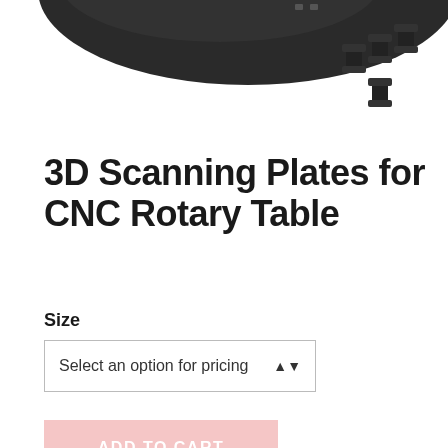[Figure (photo): Partial top view of a black 3D scanning plate disc and several black standoff screws/posts on white background]
3D Scanning Plates for CNC Rotary Table
Size
Select an option for pricing
ADD TO CART
Add to Wishlist